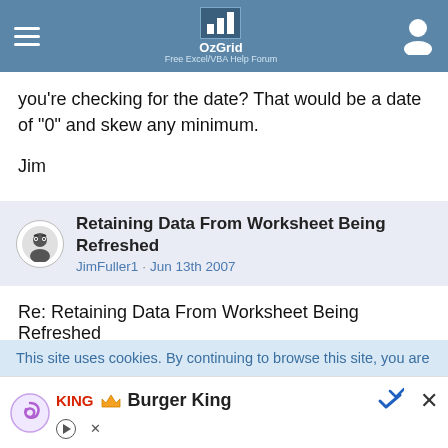OzGrid - Free Excel/VBA Help Forum
you're checking for the date? That would be a date of "0" and skew any minimum.
Jim
Retaining Data From Worksheet Being Refreshed
JimFuller1 · Jun 13th 2007
Re: Retaining Data From Worksheet Being Refreshed
How did the stuff in B-E get populated in the Before scenario in the first place? If someone just types it in, could you store the Before entries and just add the NEW After entries so
This site uses cookies. By continuing to browse this site, you are
[Figure (infographic): Burger King advertisement banner with play and close controls]